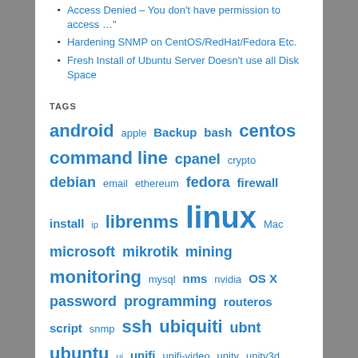Access Denied – You don't have permission to access ..."
Hardening SNMP on CentOS/RedHat/Fedora Etc.
Fresh Install of Ubuntu Server Doesn't use all Disk Space
TAGS
android apple Backup bash centos command line cpanel crypto debian email ethereum fedora firewall install ip librenms linux Mac microsoft mikrotik mining monitoring mysql nms nvidia OS X password programming routeros script snmp ssh ubiquiti ubnt ubuntu ui unifi unifi-video unity unity3d whm Windows XenServer zenoss zenoss 5